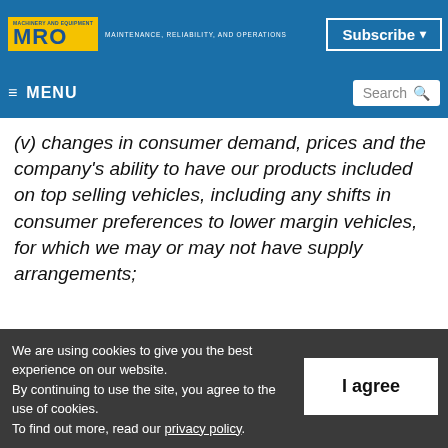MRO — MAINTENANCE, RELIABILITY, AND OPERATIONS | Subscribe
≡ MENU | Search
(v) changes in consumer demand, prices and the company's ability to have our products included on top selling vehicles, including any shifts in consumer preferences to lower margin vehicles, for which we may or may not have supply arrangements;
We are using cookies to give you the best experience on our website.
By continuing to use the site, you agree to the use of cookies.
To find out more, read our privacy policy.